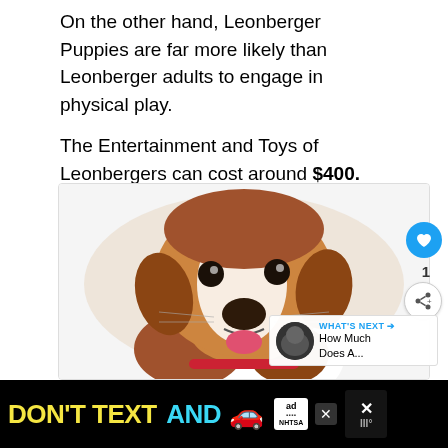On the other hand, Leonberger Puppies are far more likely than Leonberger adults to engage in physical play.
The Entertainment and Toys of Leonbergers can cost around $400.
[Figure (photo): A brown and white dog (resembling a Jack Russell Terrier mix) looking forward with its mouth open and tongue slightly out, wearing a red collar. Has a like button (heart icon, blue circle), share button, like count of 1, and a 'What's Next' overlay showing a thumbnail of a black dog with text 'How Much Does A...']
[Figure (infographic): Black advertisement banner at bottom: 'DON'T TEXT AND' in yellow and cyan bold text with a red car emoji, an 'ad' logo box with NHTSA branding, and close/dismiss buttons.]